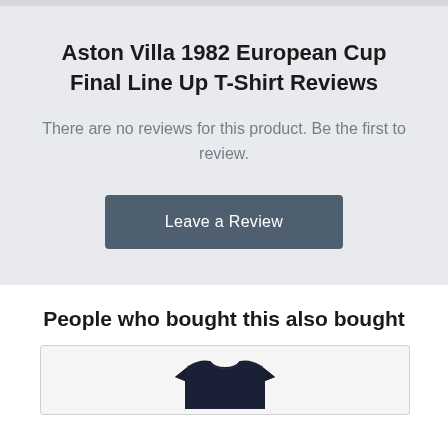Aston Villa 1982 European Cup Final Line Up T-Shirt Reviews
There are no reviews for this product. Be the first to review.
Leave a Review
People who bought this also bought
[Figure (photo): Dark navy T-shirt product image]